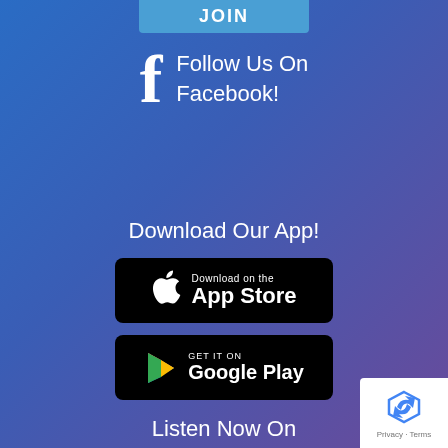JOIN
Follow Us On Facebook!
Download Our App!
[Figure (logo): Download on the App Store badge - black background with Apple logo]
[Figure (logo): Get it on Google Play badge - black background with Google Play triangle logo]
Listen Now On
[Figure (logo): Monorail Tales Disney Fan Podcast - Sharing The Magic logo with microphone]
[Figure (other): reCAPTCHA widget with Privacy and Terms links]